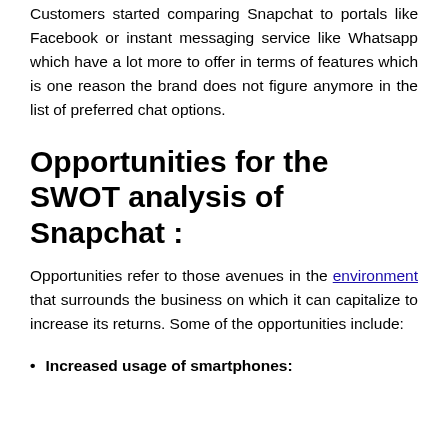Customers started comparing Snapchat to portals like Facebook or instant messaging service like Whatsapp which have a lot more to offer in terms of features which is one reason the brand does not figure anymore in the list of preferred chat options.
Opportunities for the SWOT analysis of Snapchat :
Opportunities refer to those avenues in the environment that surrounds the business on which it can capitalize to increase its returns. Some of the opportunities include:
Increased usage of smartphones: